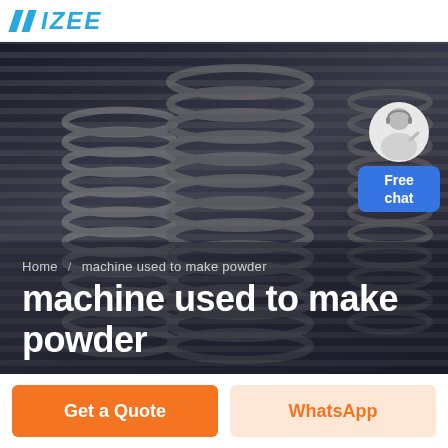IZEE (logo)
[Figure (photo): Dark industrial hero banner image with striped/ribbed machine parts in background, showing a machine used to make powder]
Home / machine used to make powder
machine used to make powder
[Figure (illustration): Free chat widget with avatar of customer service representative and blue bubble saying 'Free chat']
Get a Quote
WhatsApp